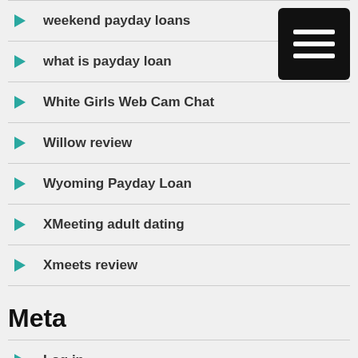weekend payday loans
what is payday loan
White Girls Web Cam Chat
Willow review
Wyoming Payday Loan
XMeeting adult dating
Xmeets review
Meta
Log in
Entries feed